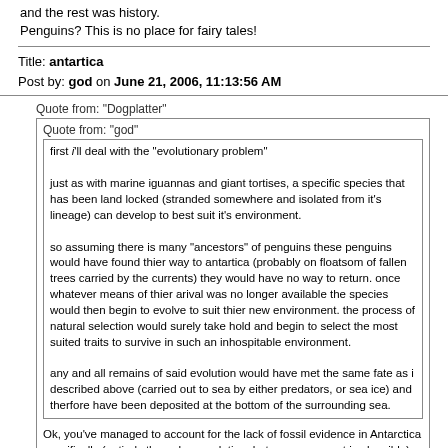and the rest was history.
Penguins? This is no place for fairy tales!
Title: antartica
Post by: god on June 21, 2006, 11:13:56 AM
Quote from: "Dogplatter"
Quote from: "god"
first i'll deal with the "evolutionary problem"

just as with marine iguannas and giant tortises, a specific species that has been land locked (stranded somewhere and isolated from it's lineage) can develop to best suit it's environment.

so assuming there is many "ancestors" of penguins these penguins would have found thier way to antartica (probably on floatsom of fallen trees carried by the currents) they would have no way to return. once whatever means of thier arival was no longer available the species would then begin to evolve to suit thier new environment. the process of natural selection would surely take hold and begin to select the most suited traits to survive in such an inhospitable environment.

any and all remains of said evolution would have met the same fate as i described above (carried out to sea by either predators, or sea ice) and therfore have been deposited at the bottom of the surrounding sea.
Ok, you've managed to account for the lack of fossil evidence in Antarctica specifically (entirely through speculation, but your argument is plausible), but why is the lineage of penguin ancestors (penguins from South America/Australia or wherever so sparse? These areas are idea for producing fossils.
Quote from: "god"